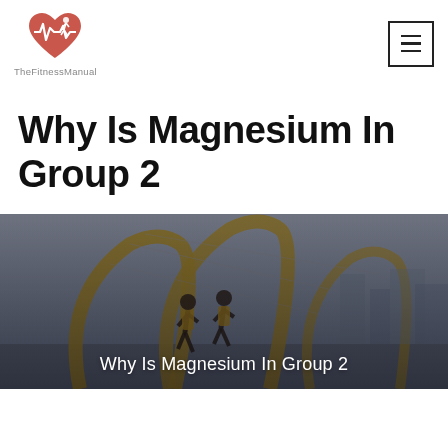TheFitnessManual
Why Is Magnesium In Group 2
[Figure (photo): Two people jogging under a large yellow arched structure/bridge with cables. The image has a dark overlay. Text overlay reads 'Why Is Magnesium In Group 2'.]